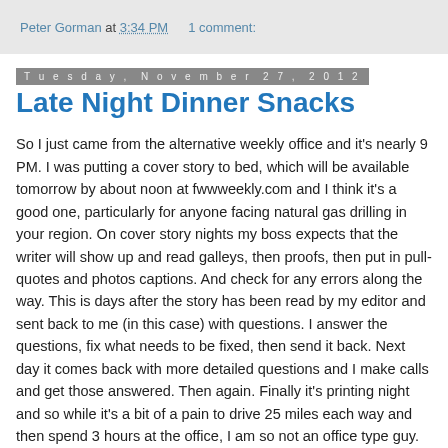Peter Gorman at 3:34 PM   1 comment:
Tuesday, November 27, 2012
Late Night Dinner Snacks
So I just came from the alternative weekly office and it's nearly 9 PM. I was putting a cover story to bed, which will be available tomorrow by about noon at fwwweekly.com and I think it's a good one, particularly for anyone facing natural gas drilling in your region. On cover story nights my boss expects that the writer will show up and read galleys, then proofs, then put in pull-quotes and photos captions. And check for any errors along the way. This is days after the story has been read by my editor and sent back to me (in this case) with questions. I answer the questions, fix what needs to be fixed, then send it back. Next day it comes back with more detailed questions and I make calls and get those answered. Then again. Finally it's printing night and so while it's a bit of a pain to drive 25 miles each way and then spend 3 hours at the office, I am so not an office type guy. SNAP!